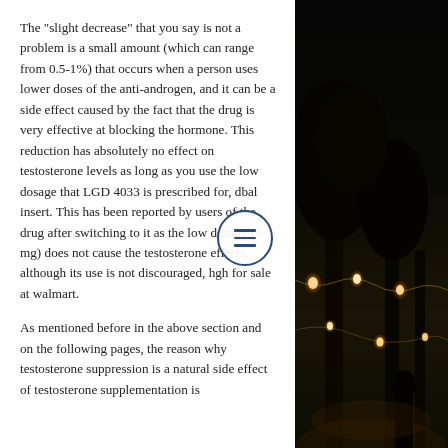The "slight decrease" that you say is not a problem is a small amount (which can range from 0.5-1%) that occurs when a person uses lower doses of the anti-androgen, and it can be a side effect caused by the fact that the drug is very effective at blocking the hormone. This reduction has absolutely no effect on testosterone levels as long as you use the low dosage that LGD 4033 is prescribed for, dbal insert. This has been reported by users of the drug after switching to it as the low dosage (1 mg) does not cause the testosterone effects, although its use is not discouraged, hgh for sale at walmart.
As mentioned before in the above section and on the following pages, the reason why testosterone suppression is a natural side effect of testosterone supplementation is
[Figure (photo): Night outdoor photo showing trees with string lights hanging, warm golden bokeh lighting against dark background]